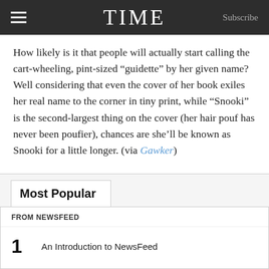TIME  Subscribe
How likely is it that people will actually start calling the cart-wheeling, pint-sized “guidette” by her given name? Well considering that even the cover of her book exiles her real name to the corner in tiny print, while “Snooki” is the second-largest thing on the cover (her hair pouf has never been poufier), chances are she’ll be known as Snooki for a little longer. (via Gawker)
Most Popular
FROM NEWSFEED
1  An Introduction to NewsFeed